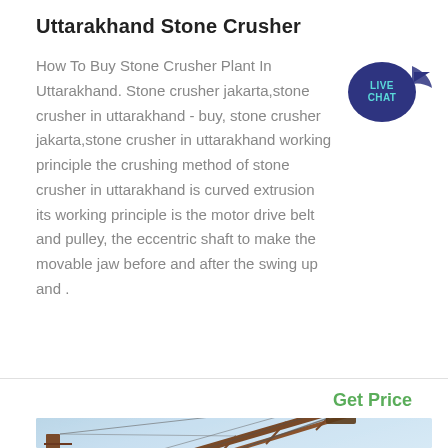Uttarakhand Stone Crusher
How To Buy Stone Crusher Plant In Uttarakhand. Stone crusher jakarta,stone crusher in uttarakhand - buy, stone crusher jakarta,stone crusher in uttarakhand working principle the crushing method of stone crusher in uttarakhand is curved extrusion its working principle is the motor drive belt and pulley, the eccentric shaft to make the movable jaw before and after the swing up and .
Get Price
[Figure (photo): Industrial stone crusher / conveyor crane structure photographed against a light blue sky, showing metal lattice framework and orange/rust-colored structural beams at an angle]